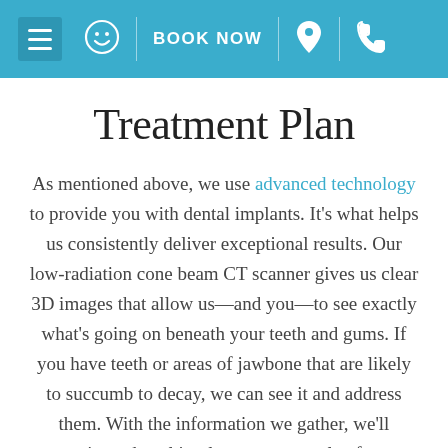≡ ☺ | BOOK NOW | 📍 | 📞
Treatment Plan
As mentioned above, we use advanced technology to provide you with dental implants. It's what helps us consistently deliver exceptional results. Our low-radiation cone beam CT scanner gives us clear 3D images that allow us—and you—to see exactly what's going on beneath your teeth and gums. If you have teeth or areas of jawbone that are likely to succumb to decay, we can see it and address them. With the information we gather, we'll customize a dental implant treatment plan for you. This may include anything from a single dental